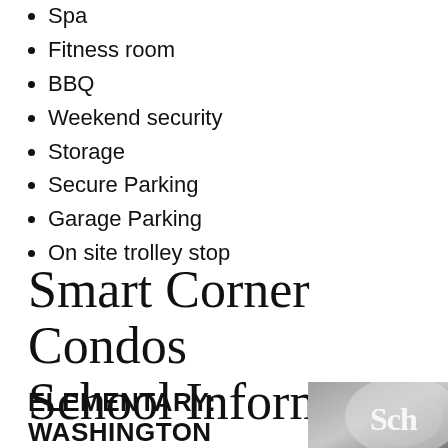Spa
Fitness room
BBQ
Weekend security
Storage
Secure Parking
Garage Parking
On site trolley stop
Smart Corner Condos School Information
ELEMENTARY:
WASHINGTON
[Figure (photo): Black and white close-up photo of a school sign showing the letters 'Sch']